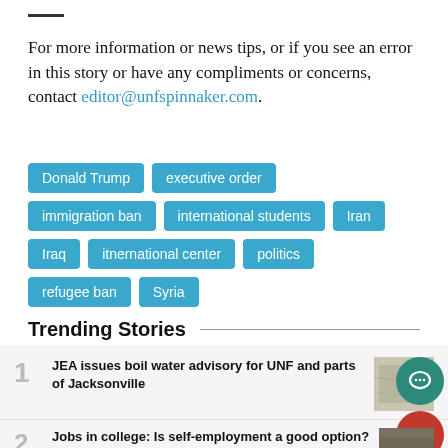For more information or news tips, or if you see an error in this story or have any compliments or concerns, contact editor@unfspinnaker.com.
Donald Trump
executive order
immigration ban
international students
Iran
Iraq
itnernational center
politics
refugee ban
Syria
Trending Stories
JEA issues boil water advisory for UNF and parts of Jacksonville
Jobs in college: Is self-employment a good option?